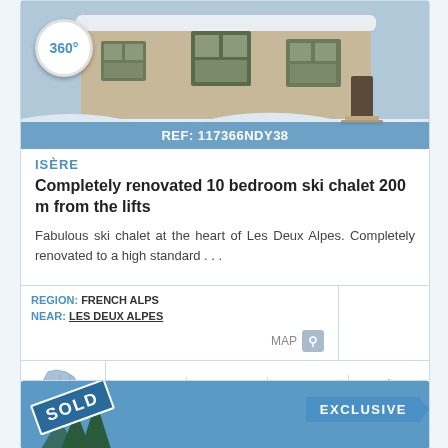[Figure (photo): Snow-covered chalet building exterior, winter scene with 360 degree badge overlay and reference number bar]
REF: 117366NDY38
ISÈRE
Completely renovated 10 bedroom ski chalet 200 m from the lifts
Fabulous ski chalet at the heart of Les Deux Alpes. Completely renovated to a high standard . . .
REGION: FRENCH ALPS
NEAR: LES DEUX ALPES
MAP
167 M² land   192 M² size   10 beds   10 baths
[Figure (photo): Second property listing card showing SOLD stamp and EXCLUSIVE banner]